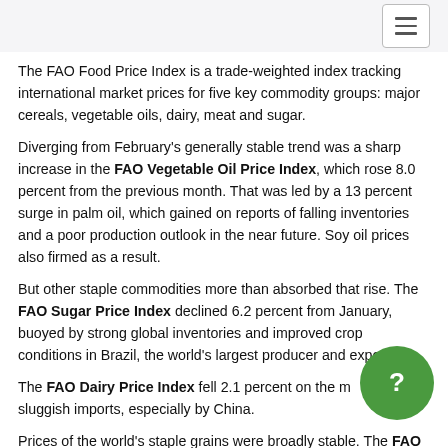The FAO Food Price Index is a trade-weighted index tracking international market prices for five key commodity groups: major cereals, vegetable oils, dairy, meat and sugar.
Diverging from February's generally stable trend was a sharp increase in the FAO Vegetable Oil Price Index, which rose 8.0 percent from the previous month. That was led by a 13 percent surge in palm oil, which gained on reports of falling inventories and a poor production outlook in the near future. Soy oil prices also firmed as a result.
But other staple commodities more than absorbed that rise. The FAO Sugar Price Index declined 6.2 percent from January, buoyed by strong global inventories and improved crop conditions in Brazil, the world's largest producer and exporter.
The FAO Dairy Price Index fell 2.1 percent on the month amid sluggish imports, especially by China.
Prices of the world's staple grains were broadly stable. The FAO Cereal Price Index inched down only around half a percentage